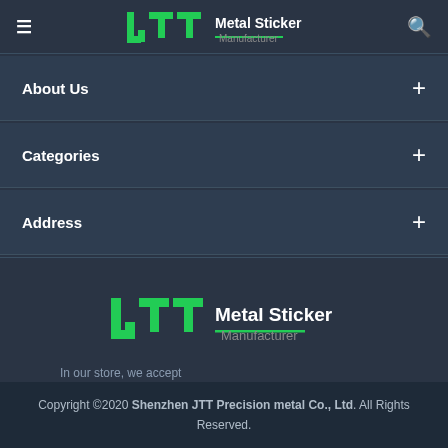JTT Metal Sticker Manufacturer
About Us +
Categories +
Address +
[Figure (logo): JTT Metal Sticker Manufacturer logo in green and white]
In our store, we accept
Copyright ©2020 Shenzhen JTT Precision metal Co., Ltd. All Rights Reserved.